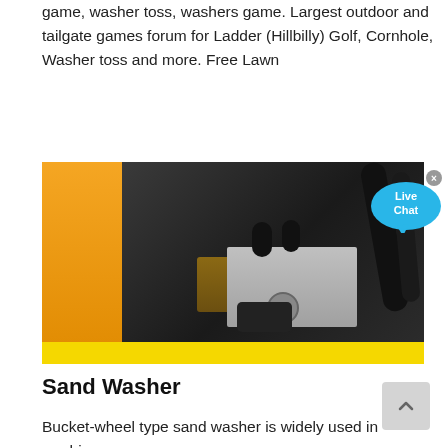game, washer toss, washers game. Largest outdoor and tailgate games forum for Ladder (Hillbilly) Golf, Cornhole, Washer toss and more. Free Lawn
[Figure (photo): Close-up photo of industrial sand washer machinery components including orange housing, black hoses, metal valve block, gauges and yellow structural bar at bottom. A 'Live Chat' bubble overlay appears in the upper right corner.]
Sand Washer
Bucket-wheel type sand washer is widely used in washing,